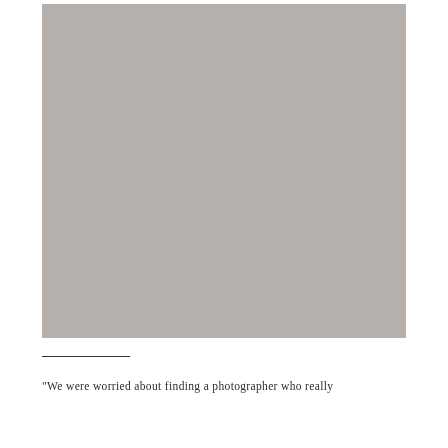[Figure (photo): Large grey placeholder photo occupying most of the upper portion of the page]
"We were worried about finding a photographer who really